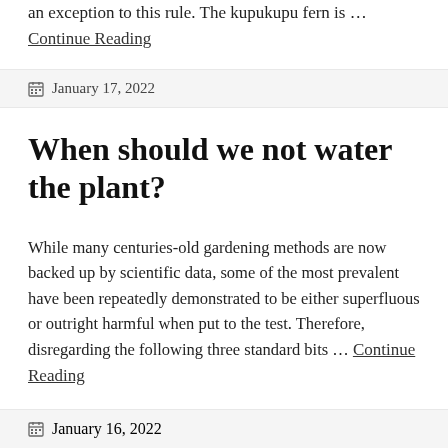an exception to this rule. The kupukupu fern is … Continue Reading
January 17, 2022
When should we not water the plant?
While many centuries-old gardening methods are now backed up by scientific data, some of the most prevalent have been repeatedly demonstrated to be either superfluous or outright harmful when put to the test. Therefore, disregarding the following three standard bits … Continue Reading
January 16, 2022